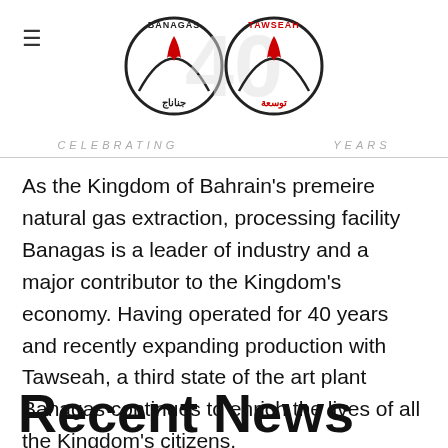CELEBRATING 40 YEARS — Banagas / Tawseah logo header
As the Kingdom of Bahrain's premeire natural gas extraction, processing facility Banagas is a leader of industry and a major contributor to the Kingdom's economy. Having operated for 40 years and recently expanding production with Tawseah, a third state of the art plant Banagas continues to enrich the lives of all the Kingdom's citizens.
Recent News